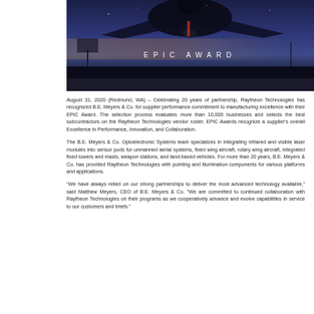[Figure (photo): Dark banner image showing aircraft/drone undercarriage against a dusk sky, with 'EPIC AWARD' text overlaid in white spaced letters]
August 31, 2020 (Redmond, WA) – Celebrating 20 years of partnership, Raytheon Technologies has recognized B.E. Meyers & Co. for supplier performance commitment to manufacturing excellence with their EPIC Award. The selection process evaluates more than 10,000 businesses and selects the best subcontractors on the Raytheon Technologies vendor roster. EPIC Awards recognize a supplier's overall Excellence in Performance, Innovation, and Collaboration.
The B.E. Meyers & Co. Optoelectronic Systems team specializes in integrating infrared and visible laser modules into sensor pods for unmanned aerial systems, fixed wing aircraft, rotary wing aircraft, integrated fixed towers and masts, weapon stations, and land-based vehicles. For more than 20 years, B.E. Meyers & Co. has provided Raytheon Technologies with pointing and illumination components for various platforms and applications.
"We have always relied on our strong partnerships to deliver the most advanced technology available," said Matthew Meyers, CEO of B.E. Meyers & Co. "We are committed to continued collaboration with Raytheon Technologies on their programs as we cooperatively advance and evolve capabilities in service to our customers and briefs."